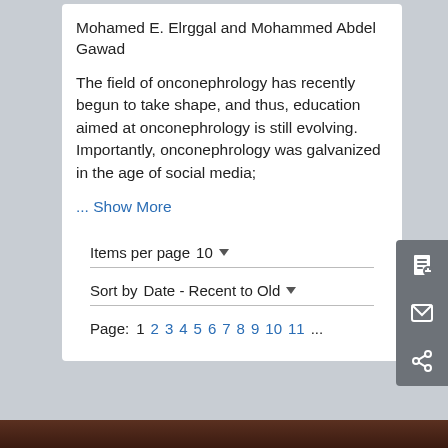Mohamed E. Elrggal and Mohammed Abdel Gawad
The field of onconephrology has recently begun to take shape, and thus, education aimed at onconephrology is still evolving. Importantly, onconephrology was galvanized in the age of social media;
... Show More
Items per page  10
Sort by  Date - Recent to Old
Page: 1 2 3 4 5 6 7 8 9 10 11 ...